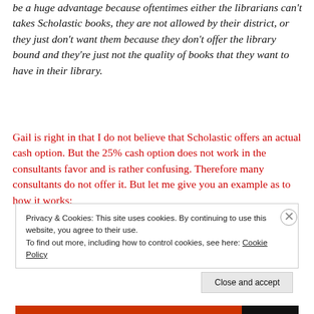be a huge advantage because oftentimes either the librarians can't takes Scholastic books, they are not allowed by their district, or they just don't want them because they don't offer the library bound and they're just not the quality of books that they want to have in their library.
Gail is right in that I do not believe that Scholastic offers an actual cash option. But the 25% cash option does not work in the consultants favor and is rather confusing. Therefore many consultants do not offer it. But let me give you an example as to how it works:
Privacy & Cookies: This site uses cookies. By continuing to use this website, you agree to their use.
To find out more, including how to control cookies, see here: Cookie Policy